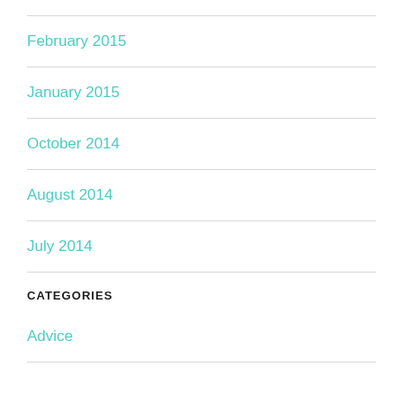February 2015
January 2015
October 2014
August 2014
July 2014
CATEGORIES
Advice